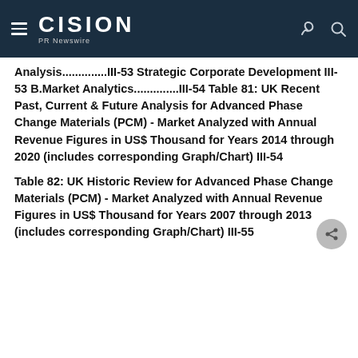CISION PR Newswire
Analysis..............III-53 Strategic Corporate Development III-53 B.Market Analytics..............III-54 Table 81: UK Recent Past, Current & Future Analysis for Advanced Phase Change Materials (PCM) - Market Analyzed with Annual Revenue Figures in US$ Thousand for Years 2014 through 2020 (includes corresponding Graph/Chart) III-54
Table 82: UK Historic Review for Advanced Phase Change Materials (PCM) - Market Analyzed with Annual Revenue Figures in US$ Thousand for Years 2007 through 2013 (includes corresponding Graph/Chart) III-55